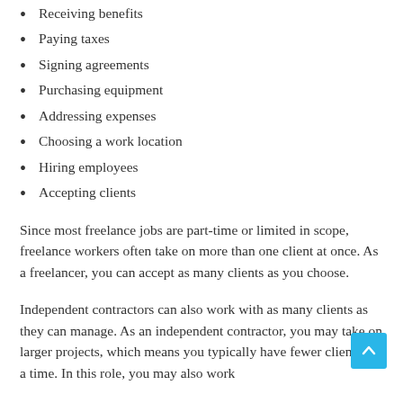Receiving benefits
Paying taxes
Signing agreements
Purchasing equipment
Addressing expenses
Choosing a work location
Hiring employees
Accepting clients
Since most freelance jobs are part-time or limited in scope, freelance workers often take on more than one client at once. As a freelancer, you can accept as many clients as you choose.
Independent contractors can also work with as many clients as they can manage. As an independent contractor, you may take on larger projects, which means you typically have fewer clients at a time. In this role, you may also work